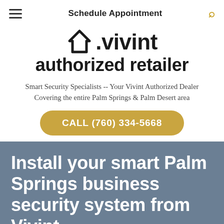Schedule Appointment
[Figure (logo): Vivint authorized retailer logo with house icon]
Smart Security Specialists -- Your Vivint Authorized Dealer Covering the entire Palm Springs & Palm Desert area
CALL (760) 334-5668
Install your smart Palm Springs business security system from Vivint